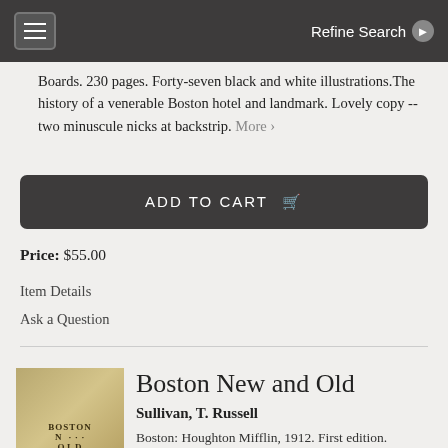Refine Search
Boards. 230 pages. Forty-seven black and white illustrations.The history of a venerable Boston hotel and landmark. Lovely copy -- two minuscule nicks at backstrip. More ›
ADD TO CART
Price: $55.00
Item Details
Ask a Question
[Figure (photo): Book cover thumbnail for Boston New and Old, showing an ornate brown/gold embossed cover with architectural imagery and text BOSTON]
Boston New and Old
Sullivan, T. Russell
Boston: Houghton Mifflin, 1912. First edition. Hardcover. 109 pages. 25.5 x 17 cm. Drawings